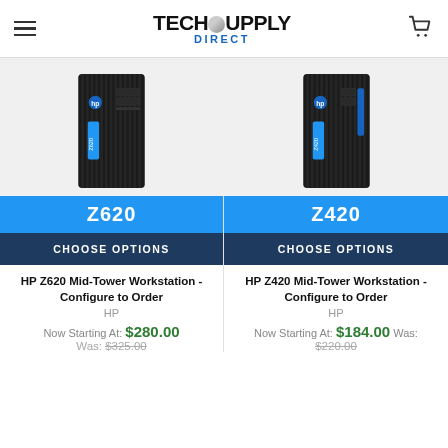TechSupply Direct
[Figure (photo): HP Z620 Mid-Tower Workstation tower unit, black with vertical ridges and HP logo]
Z620
CHOOSE OPTIONS
HP Z620 Mid-Tower Workstation - Configure to Order
HP
Now Starting At: $280.00
Was: $325.00
[Figure (photo): HP Z420 Mid-Tower Workstation tower unit, black with vertical ridges and HP logo]
Z420
CHOOSE OPTIONS
HP Z420 Mid-Tower Workstation - Configure to Order
HP
Now Starting At: $184.00 Was:
$220.00